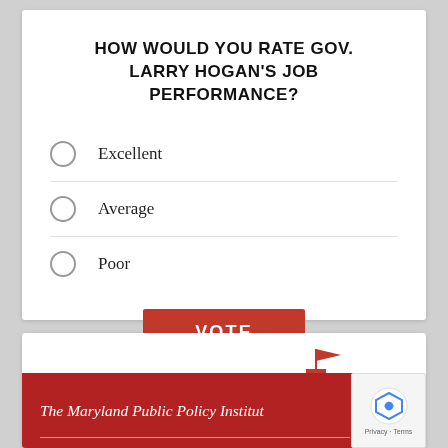HOW WOULD YOU RATE GOV. LARRY HOGAN'S JOB PERFORMANCE?
Excellent
Average
Poor
VOTE
[Figure (logo): The Maryland Public Policy Institute logo with red banner and building silhouette]